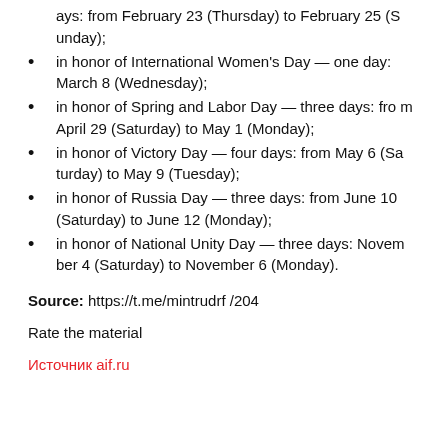ays: from February 23 (Thursday) to February 25 (Sunday);
in honor of International Women's Day — one day: March 8 (Wednesday);
in honor of Spring and Labor Day — three days: from April 29 (Saturday) to May 1 (Monday);
in honor of Victory Day — four days: from May 6 (Saturday) to May 9 (Tuesday);
in honor of Russia Day — three days: from June 10 (Saturday) to June 12 (Monday);
in honor of National Unity Day — three days: November 4 (Saturday) to November 6 (Monday).
Source: https://t.me/mintrudrf /204
Rate the material
Источник aif.ru